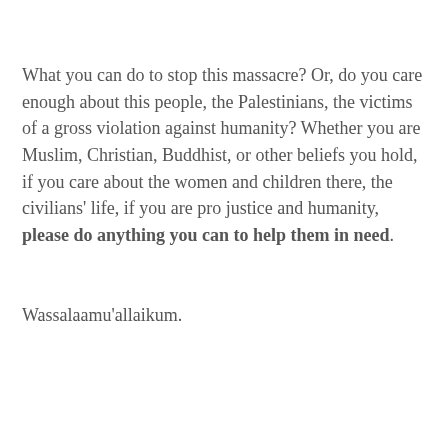What you can do to stop this massacre? Or, do you care enough about this people, the Palestinians, the victims of a gross violation against humanity? Whether you are Muslim, Christian, Buddhist, or other beliefs you hold, if you care about the women and children there, the civilians' life, if you are pro justice and humanity, please do anything you can to help them in need.
Wassalaamu'allaikum.